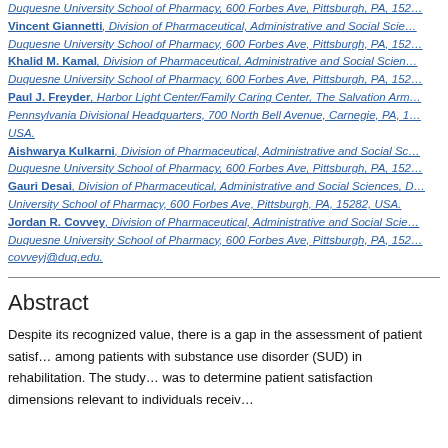Duquesne University School of Pharmacy, 600 Forbes Ave, Pittsburgh, PA, 152...
Vincent Giannetti, Division of Pharmaceutical, Administrative and Social Sciences, Duquesne University School of Pharmacy, 600 Forbes Ave, Pittsburgh, PA, 152...
Khalid M. Kamal, Division of Pharmaceutical, Administrative and Social Sciences, Duquesne University School of Pharmacy, 600 Forbes Ave, Pittsburgh, PA, 152...
Paul J. Freyder, Harbor Light Center/Family Caring Center, The Salvation Army Pennsylvania Divisional Headquarters, 700 North Bell Avenue, Carnegie, PA, 1... USA.
Aishwarya Kulkarni, Division of Pharmaceutical, Administrative and Social Sciences, Duquesne University School of Pharmacy, 600 Forbes Ave, Pittsburgh, PA, 152...
Gauri Desai, Division of Pharmaceutical, Administrative and Social Sciences, Duquesne University School of Pharmacy, 600 Forbes Ave, Pittsburgh, PA, 15282, USA.
Jordan R. Covvey, Division of Pharmaceutical, Administrative and Social Sciences, Duquesne University School of Pharmacy, 600 Forbes Ave, Pittsburgh, PA, 152... covveyj@duq.edu.
Abstract
Despite its recognized value, there is a gap in the assessment of patient satisfaction among patients with substance use disorder (SUD) in rehabilitation. The study was to determine patient satisfaction dimensions relevant to individuals receiving...